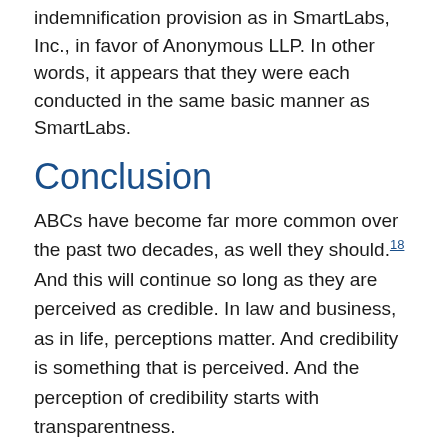indemnification provision as in SmartLabs, Inc., in favor of Anonymous LLP. In other words, it appears that they were each conducted in the same basic manner as SmartLabs.
Conclusion
ABCs have become far more common over the past two decades, as well they should.18 And this will continue so long as they are perceived as credible. In law and business, as in life, perceptions matter. And credibility is something that is perceived. And the perception of credibility starts with transparentness.
It is my opinion that an assignee must disclose their identity to the creditors of their assignment estate and make themselves available to those creditors